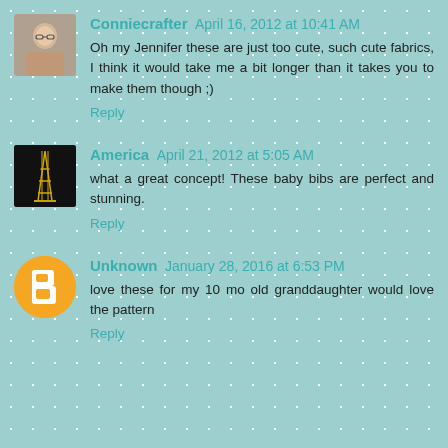Conniecrafter April 16, 2012 at 10:41 AM
Oh my Jennifer these are just too cute, such cute fabrics, I think it would take me a bit longer than it takes you to make them though ;)
Reply
America April 21, 2012 at 5:05 AM
what a great concept! These baby bibs are perfect and stunning.
Reply
Unknown January 28, 2016 at 6:53 PM
love these for my 10 mo old granddaughter would love the pattern
Reply